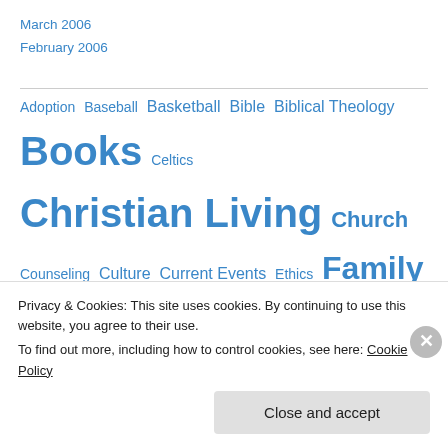March 2006
February 2006
[Figure (other): Tag cloud with topics including Adoption, Baseball, Basketball, Bible, Biblical Theology, Books, Celtics, Christian Living, Church, Counseling, Culture, Current Events, Ethics, Family, Football, Humor, John Piper, Mark Driscoll, Ministry, Movies, Music, Parenting, Patriots, Politics, Red Sox, Sports, Theology, Tim Keller, TV]
Privacy & Cookies: This site uses cookies. By continuing to use this website, you agree to their use. To find out more, including how to control cookies, see here: Cookie Policy
Close and accept